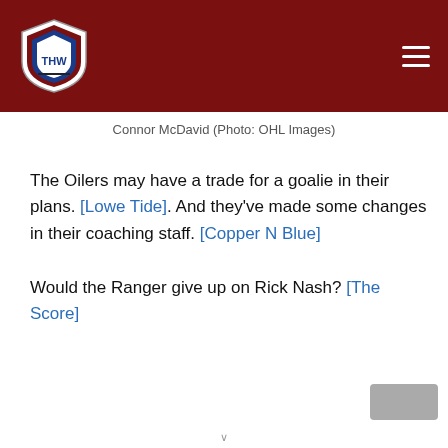[Figure (logo): THW hockey website logo shield with navigation header bar in dark red/maroon]
Connor McDavid (Photo: OHL Images)
The Oilers may have a trade for a goalie in their plans. [Lowe Tide]. And they've made some changes in their coaching staff. [Copper N Blue]
Would the Ranger give up on Rick Nash? [The Score]